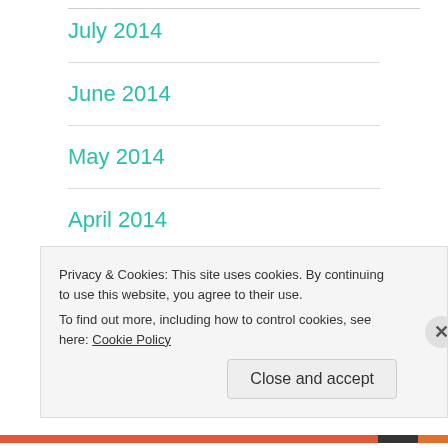July 2014
June 2014
May 2014
April 2014
March 2014
January 2014
Privacy & Cookies: This site uses cookies. By continuing to use this website, you agree to their use.
To find out more, including how to control cookies, see here: Cookie Policy